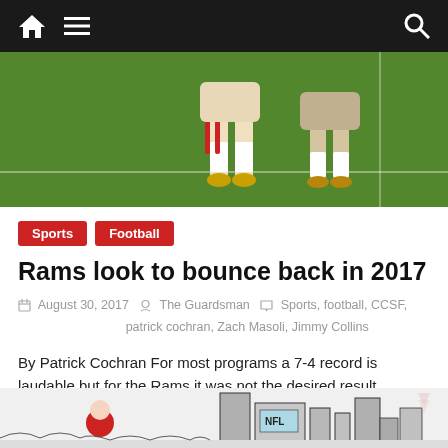Navigation bar with home, menu, and search icons
[Figure (photo): Football players on a green field, partial view showing legs and cleats]
Sports
Football
Rams look to bounce back in 2017
August 30, 2017  The Guardsman  Sports, football, CCSF, patrick cochran, Zach Masoli, Jimmy Collins
By Patrick Cochran For most programs a 7-4 record is laudable but for the Rams it was not the desired result
Read more
[Figure (illustration): Line art illustration of city buildings with NFL logo and figures, partial view at bottom of page]